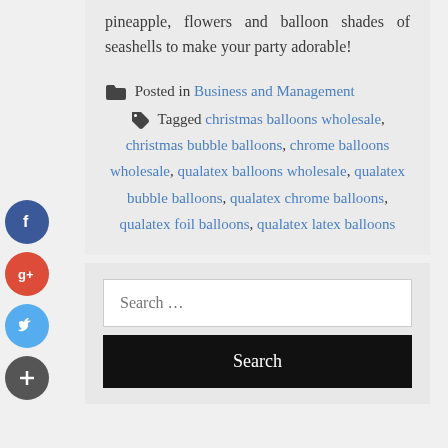pineapple, flowers and balloon shades of seashells to make your party adorable!
Posted in Business and Management Tagged christmas balloons wholesale, christmas bubble balloons, chrome balloons wholesale, qualatex balloons wholesale, qualatex bubble balloons, qualatex chrome balloons, qualatex foil balloons, qualatex latex balloons
[Figure (other): Social media sidebar icons: Facebook (blue circle), Google+ (red circle), Twitter (blue circle), Plus/share (dark circle)]
Search ...
Search